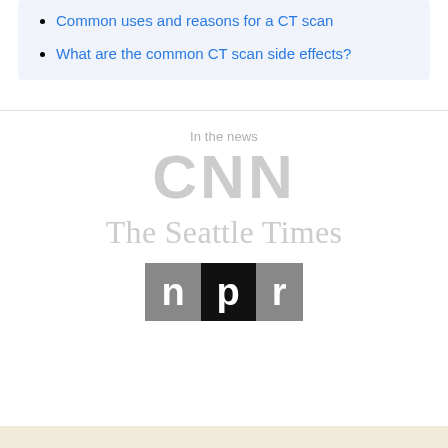Common uses and reasons for a CT scan
What are the common CT scan side effects?
In the news
[Figure (logo): CNN logo in light gray]
[Figure (logo): The Seattle Times logo in light gray serif font]
[Figure (logo): NPR logo with n on gray background, p on black background, r on gray background]